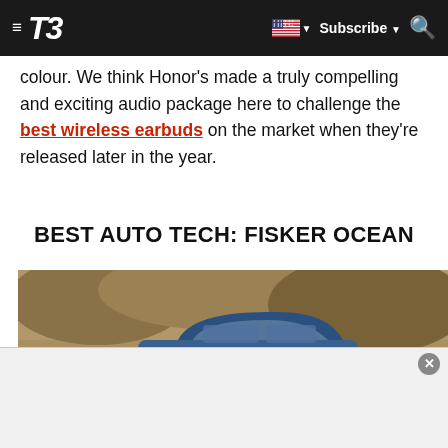T3 — navigation bar with hamburger menu, T3 logo, flag selector, Subscribe, and search icon
colour. We think Honor's made a truly compelling and exciting audio package here to challenge the best wireless earbuds on the market when they're released later in the year.
BEST AUTO TECH: FISKER OCEAN
[Figure (photo): Photo of a blue Fisker Ocean electric SUV driving on a dusty road with rocky terrain in the background]
[Figure (other): Advertisement overlay at the bottom of the page with a close (X) button]